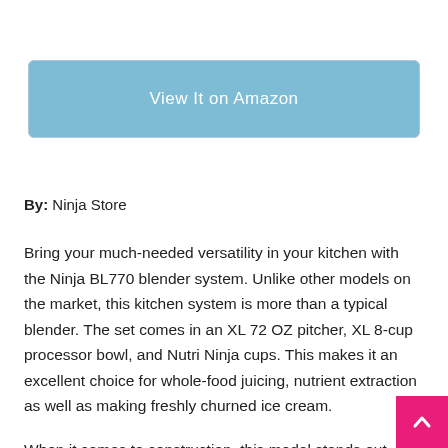[Figure (other): Blue rounded button labeled 'View It on Amazon']
By: Ninja Store
Bring your much-needed versatility in your kitchen with the Ninja BL770 blender system. Unlike other models on the market, this kitchen system is more than a typical blender. The set comes in an XL 72 OZ pitcher, XL 8-cup processor bowl, and Nutri Ninja cups. This makes it an excellent choice for whole-food juicing, nutrient extraction as well as making freshly churned ice cream.
When it comes to construction, this model stands out. It is crafted from tough, food-grade materials that ensure a performance you can rely on for years. The superior